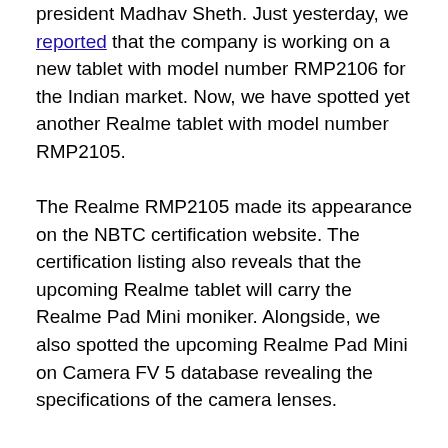president Madhav Sheth. Just yesterday, we reported that the company is working on a new tablet with model number RMP2106 for the Indian market. Now, we have spotted yet another Realme tablet with model number RMP2105.
The Realme RMP2105 made its appearance on the NBTC certification website. The certification listing also reveals that the upcoming Realme tablet will carry the Realme Pad Mini moniker. Alongside, we also spotted the upcoming Realme Pad Mini on Camera FV 5 database revealing the specifications of the camera lenses.
Realme Pad Mini Clears NBTC Certification!